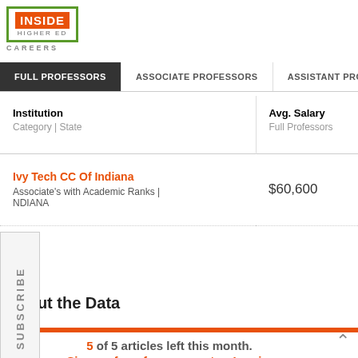[Figure (logo): Inside Higher Ed Careers logo with green border and orange background]
FULL PROFESSORS | ASSOCIATE PROFESSORS | ASSISTANT PROFESSORS
| Institution
Category | State | Avg. Salary
Full Professors | Avg. Change
Full Professors |  |
| --- | --- | --- | --- |
| Ivy Tech CC Of Indiana
Associate's with Academic Ranks | INDIANA | $60,600 | N/A |  |
About the Data
5 of 5 articles left this month.
Sign up for a free account or Log in.